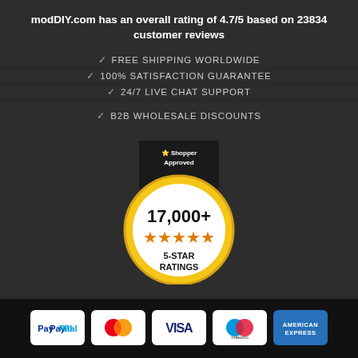modDIY.com has an overall rating of 4.7/5 based on 23834 customer reviews
✓ FREE SHIPPING WORLDWIDE
✓ 100% SATISFACTION GUARANTEE
✓ 24/7 LIVE CHAT SUPPORT
✓ B2B WHOLESALE DISCOUNTS
[Figure (illustration): Shopper Approved badge showing 17,000+ 5-star ratings with gold circle and stars]
[Figure (logo): Payment method logos: PayPal, MasterCard, Visa, Maestro, American Express]
All prices are in SGD. Copyright © 2011-2022 modDIY.